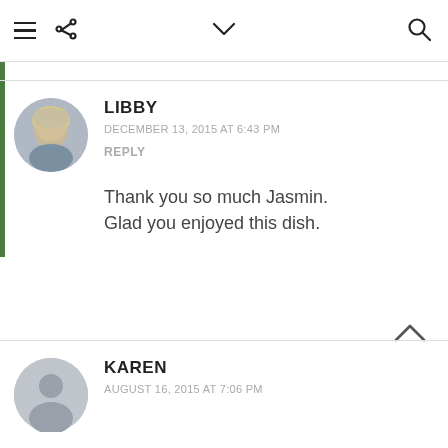≡  ⋮  ∨  🔍
LIBBY
DECEMBER 13, 2015 AT 6:43 PM
REPLY
Thank you so much Jasmin. Glad you enjoyed this dish.
KAREN
AUGUST 16, 2015 AT 7:06 PM